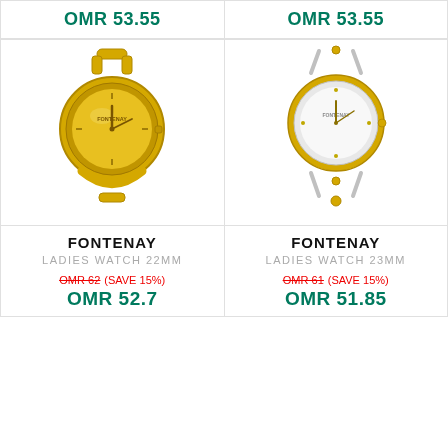OMR 53.55
OMR 53.55
[Figure (photo): Gold-tone Fontenay ladies bangle watch 22mm with gold dial]
[Figure (photo): Two-tone Fontenay ladies bangle watch 23mm with white dial and gold bezel]
FONTENAY
LADIES WATCH 22MM
OMR 62  (SAVE 15%)
OMR 52.7
FONTENAY
LADIES WATCH 23MM
OMR 61  (SAVE 15%)
OMR 51.85